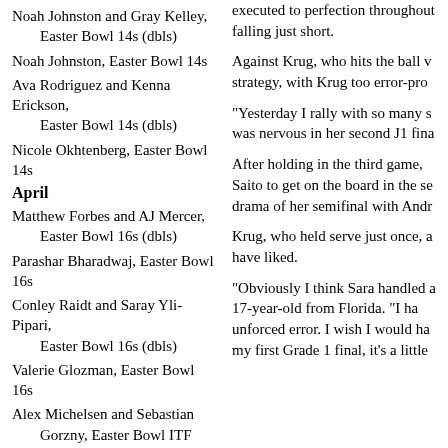Noah Johnston and Gray Kelley, Easter Bowl 14s (dbls)
Noah Johnston, Easter Bowl 14s
Ava Rodriguez and Kenna Erickson, Easter Bowl 14s (dbls)
Nicole Okhtenberg, Easter Bowl 14s
April
Matthew Forbes and AJ Mercer, Easter Bowl 16s (dbls)
Parashar Bharadwaj, Easter Bowl 16s
Conley Raidt and Saray Yli-Pipari, Easter Bowl 16s (dbls)
Valerie Glozman, Easter Bowl 16s
Alex Michelsen and Sebastian Gorzny, Easter Bowl ITF JB1 (dbls)
Alex Michelsen, Easter Bowl ITF JB1
Qavia Lopez and Liv Hovde, ITF JB1 (dbls)
executed to perfection throughout falling just short.
Against Krug, who hits the ball v strategy, with Krug too error-pro
"Yesterday I rally with so many s was nervous in her second J1 fina
After holding in the third game, Saito to get on the board in the se drama of her semifinal with Andr
Krug, who held serve just once, a have liked.
"Obviously I think Sara handled a 17-year-old from Florida. "I ha unforced error. I wish I would ha my first Grade 1 final, it's a little